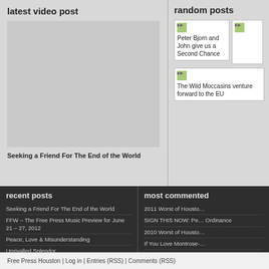latest video post
[Figure (other): Video placeholder area (gray rectangle)]
Seeking a Friend For The End of the World
random posts
[Figure (photo): Peter Bjorn and John give us a Second Chance - thumbnail with broken image icon]
[Figure (photo): Partially visible thumbnail (cropped at right edge)]
[Figure (photo): The Wild Moccasins venture forward to the EU - thumbnail with broken image icon]
recent posts
Seeking a Friend For The End of the World
FFW – The Free Press Music Preview for June 21 – 27, 2012
Peace, Love & Misunderstanding
Unrivalled Splendor
THIS IS PiL - Public Image Ltd.
most commented
2011 Worst of Housto…
SIGN THIS NOW: Pe… Ordinance
2010 Worst of Housto…
If You Love Montrose-…
An Open Letter to our…
Free Press Houston | Log in | Entries (RSS) | Comments (RSS)